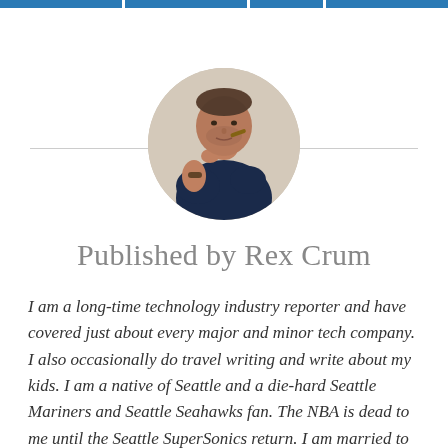[Figure (photo): Circular profile photo of Rex Crum, a man in a dark navy t-shirt, sitting and holding something near his chin, photographed in a light-colored interior space.]
Published by Rex Crum
I am a long-time technology industry reporter and have covered just about every major and minor tech company. I also occasionally do travel writing and write about my kids. I am a native of Seattle and a die-hard Seattle Mariners and Seattle Seahawks fan. The NBA is dead to me until the Seattle SuperSonics return. I am married to